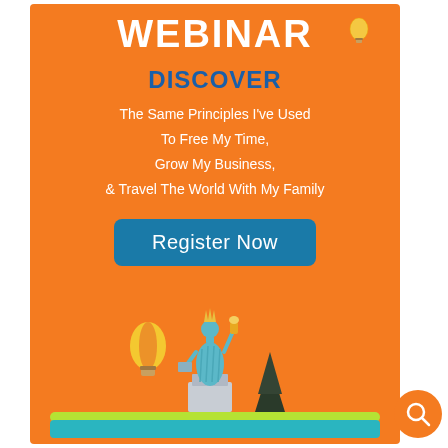WEBINAR
DISCOVER
The Same Principles I've Used
To Free My Time,
Grow My Business,
& Travel The World With My Family
Register Now
[Figure (illustration): Illustration of the Statue of Liberty with a hot air balloon and a dark pine tree on a green and teal platform at the bottom of the orange background]